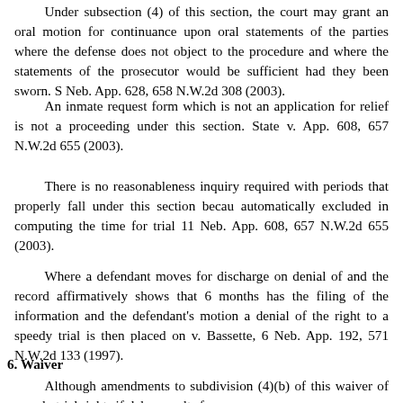Under subsection (4) of this section, the court may grant an oral motion for continuance upon oral statements of the parties where the defense does not object to the procedure and where the statements of the prosecutor would be sufficient had they been sworn. State v. Williams, 11 Neb. App. 628, 658 N.W.2d 308 (2003).
An inmate request form which is not an application for postconviction for relief is not a proceeding under this section. State v. __, 11 Neb. App. 608, 657 N.W.2d 655 (2003).
There is no reasonableness inquiry required with respect to delay periods that properly fall under this section because such periods are automatically excluded in computing the time for trial. State v. __, 11 Neb. App. 608, 657 N.W.2d 655 (2003).
Where a defendant moves for discharge on denial of speedy trial and the record affirmatively shows that 6 months has elapsed since the filing of the information and the defendant's motion, the burden for a denial of the right to a speedy trial is then placed on the State. State v. Bassette, 6 Neb. App. 192, 571 N.W.2d 133 (1997).
6. Waiver
Although amendments to subdivision (4)(b) of this section did not waiver of speedy trial rights if delay results from a rec...